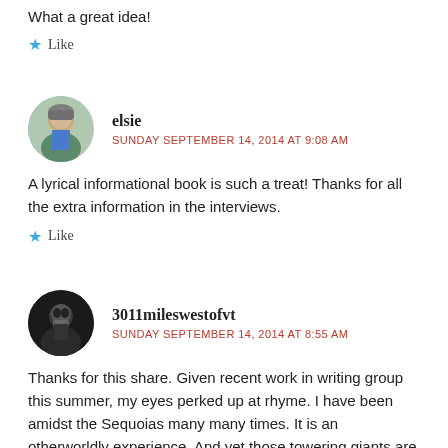What a great idea!
★ Like
elsie
SUNDAY SEPTEMBER 14, 2014 AT 9:08 AM
A lyrical informational book is such a treat! Thanks for all the extra information in the interviews.
★ Like
3011mileswestofvt
SUNDAY SEPTEMBER 14, 2014 AT 8:55 AM
Thanks for this share. Given recent work in writing group this summer, my eyes perked up at rhyme. I have been amidst the Sequoias many many times. It is an otherworldly experience. And yet those towering giants are fragile too. I can't wait to add